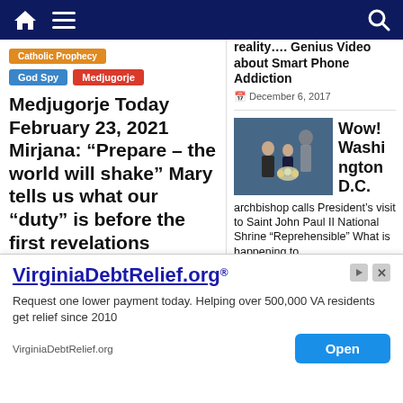Navigation bar with home, menu, and search icons
Catholic Prophecy
God Spy  Medjugorje
Medjugorje Today February 23, 2021 Mirjana: “Prepare – the world will shake” Mary tells us what our “duty” is before the first revelations
February 23, 2021   stephen
rvan
reality…. Genius Video about Smart Phone Addiction
December 6, 2017
[Figure (photo): Two people standing in front of a statue with a floral wreath, in a formal indoor setting]
Wow! Washington D.C.
archbishop calls President’s visit to Saint John Paul II National Shrine “Reprehensible”  What is happening to
VirginiaDebtRelief.org®
Request one lower payment today. Helping over 500,000 VA residents get relief since 2010
VirginiaDebtRelief.org
Open